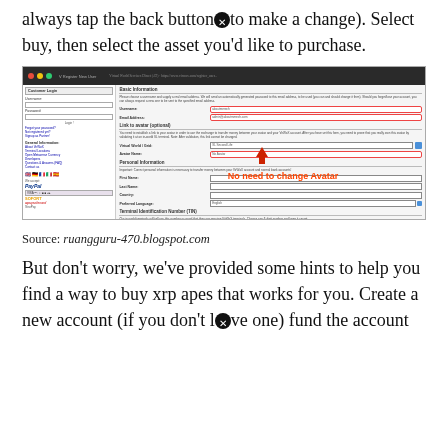always tap the back button to make a change). Select buy, then select the asset you'd like to purchase.
[Figure (screenshot): Screenshot of a Virtual World Services Direct (AT) website showing a Register New User form with Basic Information, Link to avatar (optional), Personal Information, and Terminal Identification Number sections. Red oval highlights around username and email fields. An annotation reads 'No need to change Avatar' in orange-red text with an upward arrow. Left sidebar shows Customer Login, navigation links, and payment logos including PayPal, SOFORT, and paysafecard.]
Source: ruangguru-470.blogspot.com
But don't worry, we've provided some hints to help you find a way to buy xrp apes that works for you. Create a new account (if you don't have one) fund the account